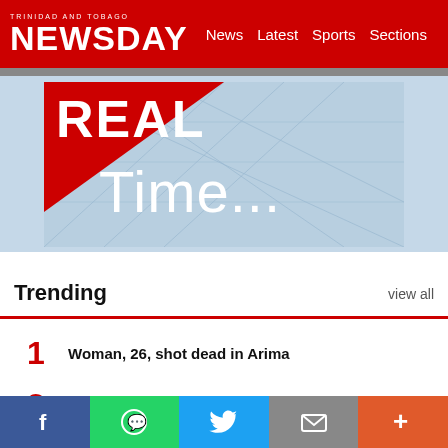TRINIDAD AND TOBAGO NEWSDAY — News  Latest  Sports  Sections
[Figure (illustration): Banner image with red diagonal triangle top-left, bold white text 'REAL Time...' overlaid on a light blue geometric network background]
Trending
view all
1  Woman, 26, shot dead in Arima
2  Failed bid to exchange $100 notes for my dad
3  Pedestrian crossings on Wrightson Road to be removed
[Figure (infographic): Social sharing bar with Facebook, WhatsApp, Twitter, Email, and More (+) buttons]